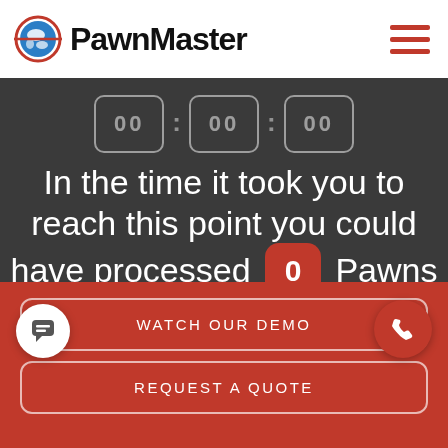[Figure (logo): PawnMaster logo with globe icon and bold text]
[Figure (infographic): Hamburger menu icon with three red horizontal lines]
In the time it took you to reach this point you could have processed 0 Pawns using PawnMaster.
WATCH OUR DEMO
REQUEST A QUOTE